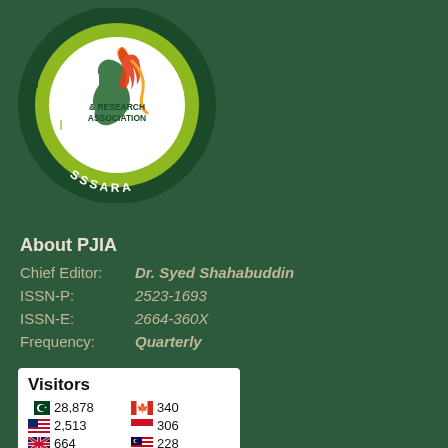[Figure (logo): SSSARA - Society for Social Sciences & Research Association circular badge logo with green color scheme, featuring Pakistan map, flame, and SSSARA text]
About PJIA
Chief Editor: Dr. Syed Shahabuddin
ISSN-P: 2523-1693
ISSN-E: 2664-360X
Frequency: Quarterly
[Figure (infographic): Visitors widget showing country flags and visitor counts: Pakistan 28,878; USA 2,513; UK 664; Canada 340; Indonesia 306; Malaysia 228]